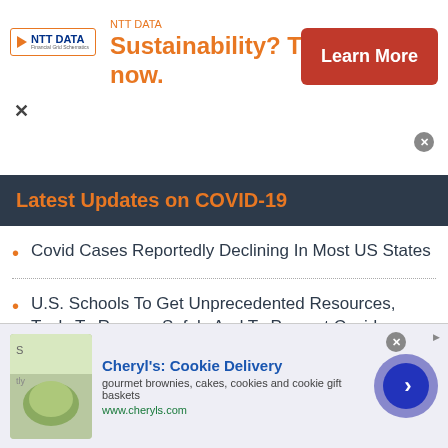[Figure (screenshot): NTT DATA advertisement banner: logo on left, headline 'Sustainability? Tackle it now.' in orange, 'Learn More' red button on right, close X button]
Latest Updates on COVID-19
Covid Cases Reportedly Declining In Most US States
U.S. Schools To Get Unprecedented Resources, Tools To Reopen Safely And To Prevent Covid Spread
All U.S. Covid-19 Metrics Fall After Several
[Figure (screenshot): Cheryl's Cookie Delivery advertisement: food image on left, title and description text, close and arrow navigation buttons]